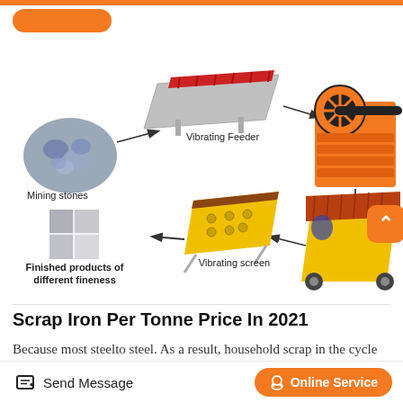[Figure (infographic): Mining/crushing process flow diagram showing: Mining stones (blue-grey rocks) → Vibrating Feeder (silver/red conveyor) → Jaw Crusher (orange machine, top right) → Impact Crusher (yellow machine, bottom right) → Vibrating screen (yellow inclined screen) → Finished products of different fineness (4-panel grid of crushed stone grades). Arrows connect each step in a loop.]
Mining stones
Vibrating Feeder
Vibrating screen
Finished products of different fineness
Scrap Iron Per Tonne Price In 2021
Because most steelto steel. As a result, household scrap in the cycle of the steel industry. These
Send Message    Online Service